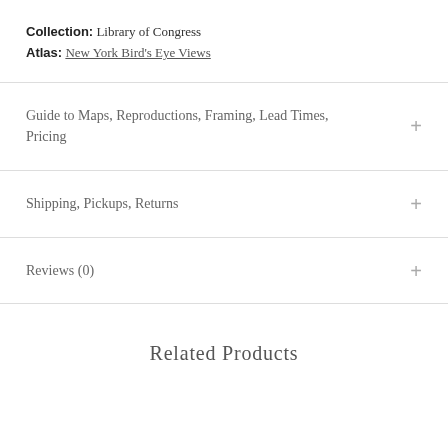Collection: Library of Congress
Atlas: New York Bird's Eye Views
Guide to Maps, Reproductions, Framing, Lead Times, Pricing
Shipping, Pickups, Returns
Reviews (0)
Related Products